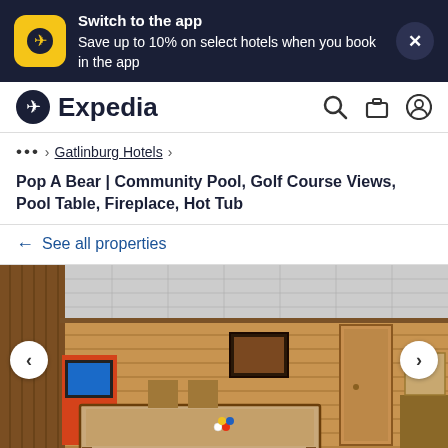Switch to the app
Save up to 10% on select hotels when you book in the app
Expedia
... > Gatlinburg Hotels >
Pop A Bear | Community Pool, Golf Course Views, Pool Table, Fireplace, Hot Tub
← See all properties
[Figure (photo): Interior room of a log cabin with wood-paneled walls, a pool/billiards table in the center, an arcade machine on the left, chairs, a framed picture on the wall, a door, and a coffered white ceiling.]